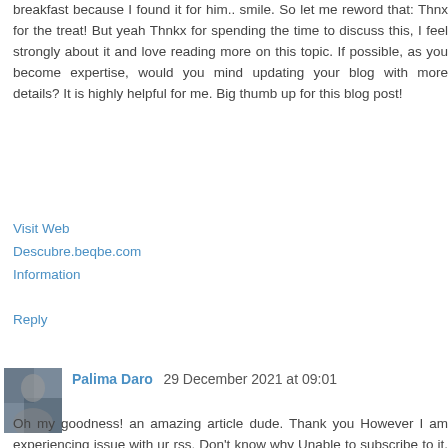breakfast because I found it for him.. smile. So let me reword that: Thnx for the treat! But yeah Thnkx for spending the time to discuss this, I feel strongly about it and love reading more on this topic. If possible, as you become expertise, would you mind updating your blog with more details? It is highly helpful for me. Big thumb up for this blog post!
Visit Web
Descubre.beqbe.com
Information
Reply
Palima Daro  29 December 2021 at 09:01
Oh my goodness! an amazing article dude. Thank you However I am experiencing issue with ur rss. Don't know why Unable to subscribe to it. Is there anyone getting identical rss problem? Anyone who knows kindly respond. Thnkx